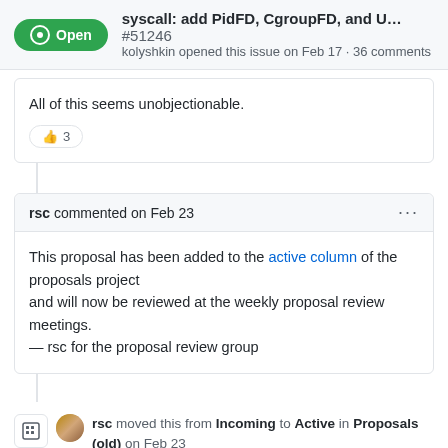syscall: add PidFD, CgroupFD, and U... #51246
kolyshkin opened this issue on Feb 17 · 36 comments
All of this seems unobjectionable.
👍 3
rsc commented on Feb 23
This proposal has been added to the active column of the proposals project and will now be reviewed at the weekly proposal review meetings.
— rsc for the proposal review group
rsc moved this from Incoming to Active in Proposals (old) on Feb 23